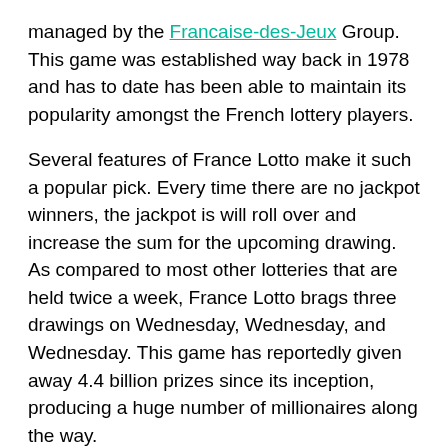managed by the Francaise-des-Jeux Group. This game was established way back in 1978 and has to date has been able to maintain its popularity amongst the French lottery players.
Several features of France Lotto make it such a popular pick. Every time there are no jackpot winners, the jackpot is will roll over and increase the sum for the upcoming drawing. As compared to most other lotteries that are held twice a week, France Lotto brags three drawings on Wednesday, Wednesday, and Wednesday. This game has reportedly given away 4.4 billion prizes since its inception, producing a huge number of millionaires along the way.
How to Play France Lotto
Firstly, the France lotto is really quick,